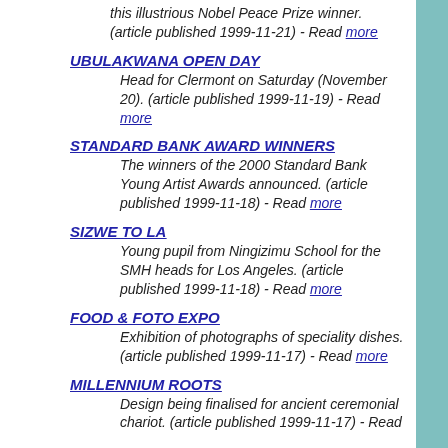this illustrious Nobel Peace Prize winner. (article published 1999-11-21) - Read more
UBULAKWANA OPEN DAY — Head for Clermont on Saturday (November 20). (article published 1999-11-19) - Read more
STANDARD BANK AWARD WINNERS — The winners of the 2000 Standard Bank Young Artist Awards announced. (article published 1999-11-18) - Read more
SIZWE TO LA — Young pupil from Ningizimu School for the SMH heads for Los Angeles. (article published 1999-11-18) - Read more
FOOD & FOTO EXPO — Exhibition of photographs of speciality dishes. (article published 1999-11-17) - Read more
MILLENNIUM ROOTS — Design being finalised for ancient ceremonial chariot. (article published 1999-11-17) - Read